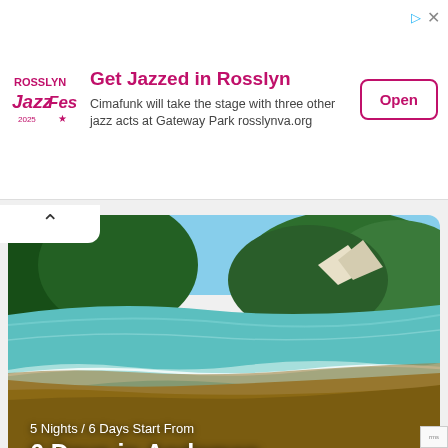[Figure (screenshot): Advertisement banner for Rosslyn JazzFest. Contains logo on the left, title 'Get Jazzed in Rosslyn', body text 'Cimafunk will take the stage with three other jazz acts at Gateway Park rosslynva.org', and an 'Open' button on the right.]
[Figure (photo): Beach photo card with sandy beach, turquoise water, and green forested hills in background. Text overlay reads '5 Nights / 6 Days Start From' and '6 Days in Andaman'.]
[Figure (photo): Partial view of a second card showing bright green terraced tea plantation hills with dense forest in the background.]